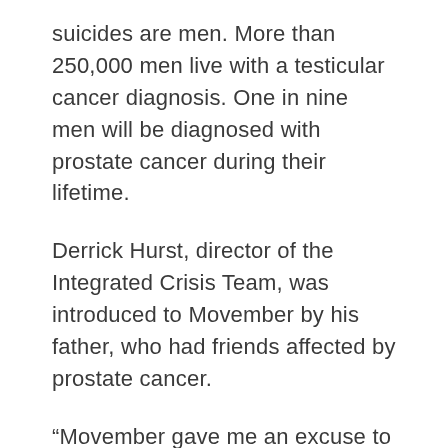suicides are men. More than 250,000 men live with a testicular cancer diagnosis. One in nine men will be diagnosed with prostate cancer during their lifetime.
Derrick Hurst, director of the Integrated Crisis Team, was introduced to Movember by his father, who had friends affected by prostate cancer.
“Movember gave me an excuse to grow a mustache, since my genetics limited me from an early age on my hairstyle options,” Derrick joked. “But the reality is